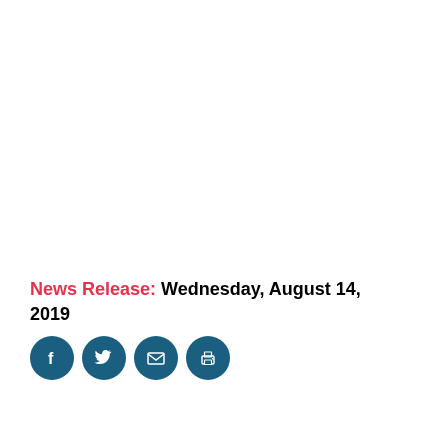News Release: Wednesday, August 14, 2019
[Figure (infographic): Four dark teal circular social sharing icons: Facebook (f), Twitter (bird), Email (envelope), Print (printer)]